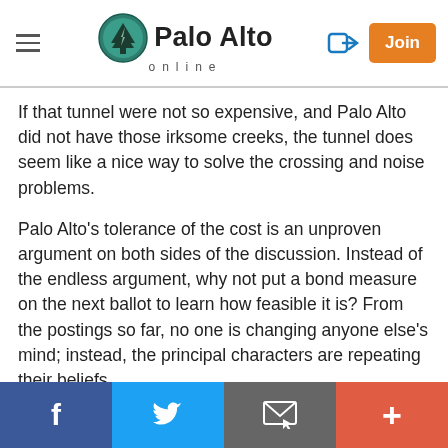Palo Alto online
If that tunnel were not so expensive, and Palo Alto did not have those irksome creeks, the tunnel does seem like a nice way to solve the crossing and noise problems.
Palo Alto's tolerance of the cost is an unproven argument on both sides of the discussion. Instead of the endless argument, why not put a bond measure on the next ballot to learn how feasible it is? From the postings so far, no one is changing anyone else's mind; instead, the principal characters are repeating their beliefs.
If you can convince the undecided property owners, you get a tunnel. If you cannot, you eliminate that
f  [Twitter]  [Email]  +